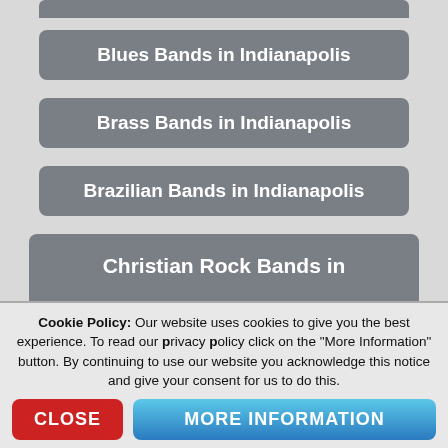Blues Bands in Indianapolis
Brass Bands in Indianapolis
Brazilian Bands in Indianapolis
Christian Rock Bands in Indianapolis
Classical Duos in Indianapolis
Cookie Policy: Our website uses cookies to give you the best experience. To read our privacy policy click on the "More Information" button. By continuing to use our website you acknowledge this notice and give your consent for us to do this.
CLOSE
MORE INFORMATION